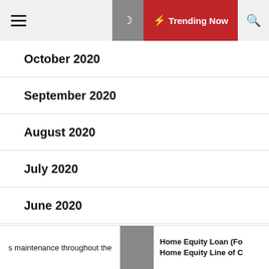Trending Now
October 2020
September 2020
August 2020
July 2020
June 2020
May 2020
April 2020
s maintenance throughout the | Home Equity Loan (Fo Home Equity Line of C